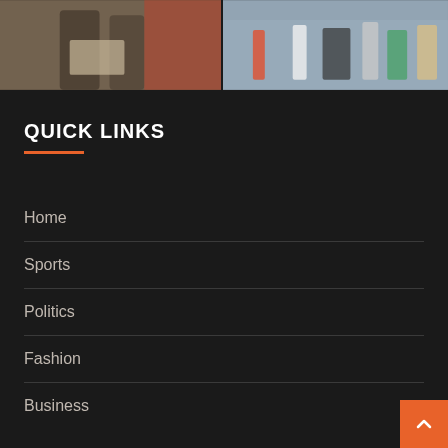[Figure (photo): Two cropped photo thumbnails side by side showing people outdoors. Left photo shows two people looking at a map/brochure. Right photo shows people walking on a street or plaza.]
QUICK LINKS
Home
Sports
Politics
Fashion
Business